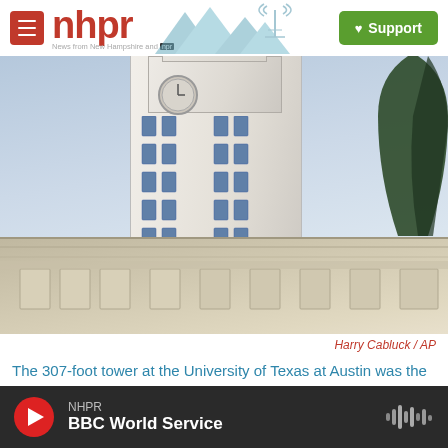nhpr — News from New Hampshire and NPR | Support
[Figure (photo): Photograph of the 307-foot tower (UT Tower) at the University of Texas at Austin, taken from below looking upward, with the clock visible near the top and a lower building with ornate roofline in the foreground. A tree is visible on the right edge.]
Harry Cabluck / AP
The 307-foot tower at the University of Texas at Austin was the site of mass murder 50 years ago Sunday.
NHPR — BBC World Service